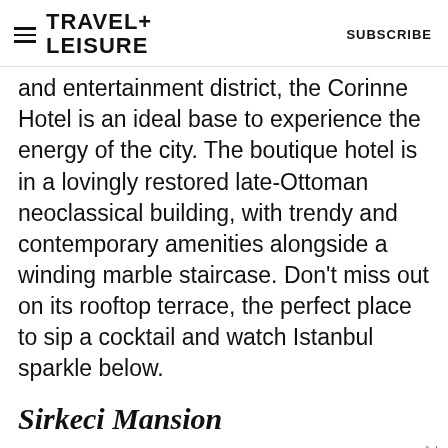TRAVEL+ LEISURE   SUBSCRIBE
and entertainment district, the Corinne Hotel is an ideal base to experience the energy of the city. The boutique hotel is in a lovingly restored late-Ottoman neoclassical building, with trendy and contemporary amenities alongside a winding marble staircase. Don't miss out on its rooftop terrace, the perfect place to sip a cocktail and watch Istanbul sparkle below.
Sirkeci Mansion
[Figure (other): Capital One Venture X advertisement banner showing 'Venture X > Capital One' logo]